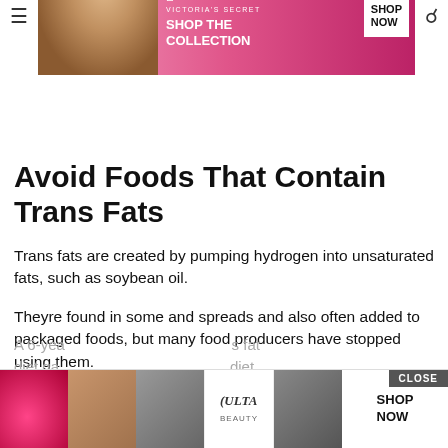[Figure (screenshot): Victoria's Secret advertisement banner with model, VS logo, 'SHOP THE COLLECTION' text and 'SHOP NOW' button]
Avoid Foods That Contain Trans Fats
Trans fats are created by pumping hydrogen into unsaturated fats, such as soybean oil.
Theyre found in some and spreads and also often added to packaged foods, but many food producers have stopped using them.
These fats have been linked to inflammation, heart disease, insulin resistance, and abdominal fat gain in observational and animal studies .
[Figure (screenshot): Ulta Beauty advertisement banner with makeup product images and 'SHOP NOW' button, with CLOSE button overlay]
A 6-yea… s fat diet ga… diet